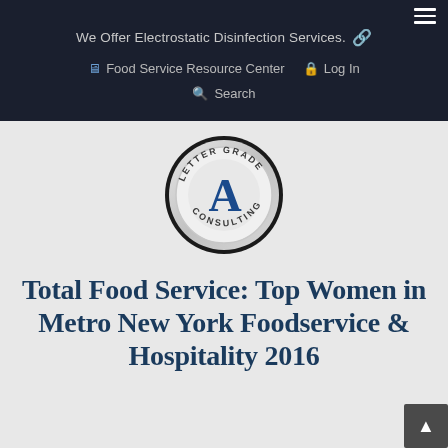We Offer Electrostatic Disinfection Services. 🔗  Food Service Resource Center  Log In  Search
[Figure (logo): Letter Grade Consulting badge logo — circular badge with text 'LETTER GRADE' at top, large blue letter A in center, 'CONSULTING' at bottom, silver/chrome border with dark outer ring]
Total Food Service: Top Women in Metro New York Foodservice & Hospitality 2016